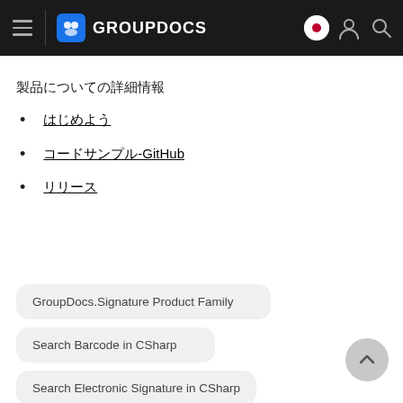GROUPDOCS
製品についての詳細情報
はじめよう
コードサンプル-GitHub
リリース
GroupDocs.Signature Product Family
Search Barcode in CSharp
Search Electronic Signature in CSharp
Search QR code in CSharp
Search Signatures in CSharp